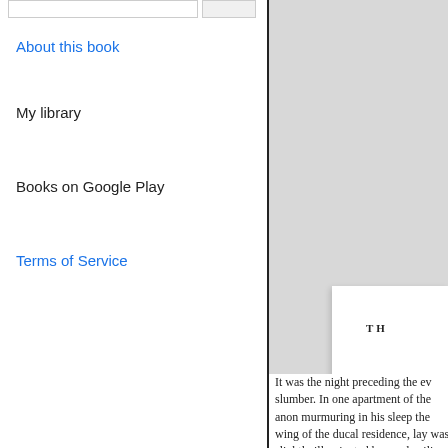About this book
My library
Books on Google Play
Terms of Service
[Figure (screenshot): Partial view of a Google Books page showing a book preview panel on the right side with grey background and a white book page partially visible with partial text 'TH' in small caps, and body text at the bottom starting with 'It was the night preceding the ev...']
It was the night preceding the ev slumber. In one apartment of the anon murmuring in his sleep the wing of the ducal residence, lay was slightly illuminated by an el ceiling. The ceiling itself was on